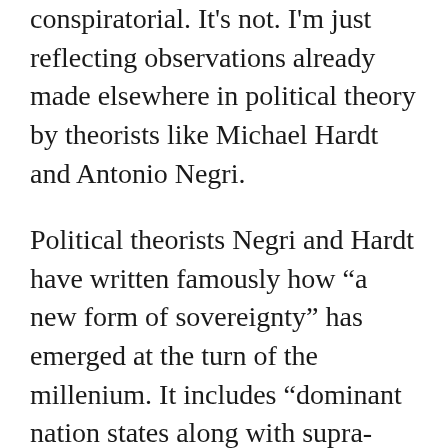conspiratorial. It's not. I'm just reflecting observations already made elsewhere in political theory by theorists like Michael Hardt and Antonio Negri.
Political theorists Negri and Hardt have written famously how “a new form of sovereignty” has emerged at the turn of the millenium. It includes “dominant nation states along with supra-national institutions, major capitalist corporations and other powers.” Despite the inequalities between these various components, they all “must cooperate to create and maintain the current global order.” (preface Multitude). “Today nearly all of humanity is to some degree absorbed within or